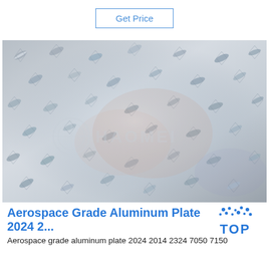Get Price
[Figure (photo): Close-up photo of aerospace grade aluminum diamond plate/checker plate with reflective metallic surface and raised diamond pattern, with HAOMEI watermark logo overlay]
Aerospace Grade Aluminum Plate 2024 2...
Aerospace grade aluminum plate 2024 2014 2324 7050 7150